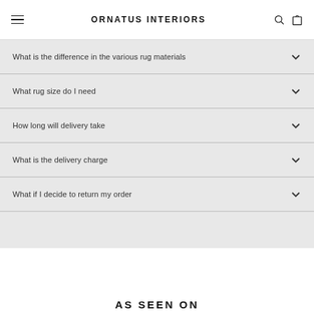ORNATUS INTERIORS
What is the difference in the various rug materials
What rug size do I need
How long will delivery take
What is the delivery charge
What if I decide to return my order
AS SEEN ON